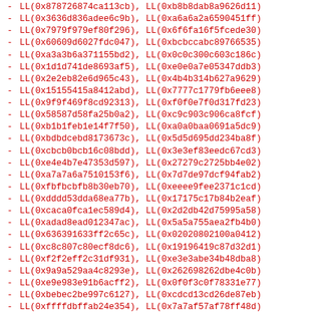- LL(0x878726874ca113cb), LL(0xb8b8dab8a9626d11)
- LL(0x3636d836adee6c9b), LL(0xa6a6a2a6590451ff)
- LL(0x7979f979ef80f296), LL(0x6f6fa16f5fcede30)
- LL(0x60609d6027fdc047), LL(0xbcbccabc89766535)
- LL(0xa3a3b6a371155bd2), LL(0x0c0c300c603c186c)
- LL(0x1d1d741de8693af5), LL(0xe0e0a7e05347ddb3)
- LL(0x2e2eb82e6d965c43), LL(0x4b4b314b627a9629)
- LL(0x15155415a8412abd), LL(0x7777c1779fb6eee8)
- LL(0x9f9f469f8cd92313), LL(0xf0f0e7f0d317fd23)
- LL(0x58587d58fa25b0a2), LL(0xc9c903c906ca8fcf)
- LL(0xb1b1feb1e14f7f50), LL(0xa0a0baa0691a5dc9)
- LL(0xbdbdcebd8173673c), LL(0x5d5d695dd234ba8f)
- LL(0xcbcb0bcb16c08bdd), LL(0x3e3ef83eedc67cd3)
- LL(0xe4e4b7e47353d597), LL(0x27279c2725bb4e02)
- LL(0xa7a7a6a7510153f6), LL(0x7d7de97dcf94fab2)
- LL(0xfbfbcbfb8b30eb70), LL(0xeeee9fee2371c1cd)
- LL(0xdddd53dda68ea77b), LL(0x17175c17b84b2eaf)
- LL(0xcaca0fca1ec589d4), LL(0x2d2db42d75995a58)
- LL(0xadad8ead012347ac), LL(0x5a5a755aea2fb4b0)
- LL(0x636391633ff2c65c), LL(0x02020802100a0412)
- LL(0xc8c807c80ecf8dc6), LL(0x19196419c87d32d1)
- LL(0xf2f2eff2c31df931), LL(0xe3e3abe34b48dba8)
- LL(0x9a9a529aa4c8293e), LL(0x262698262dbe4c0b)
- LL(0xe9e983e91b6acff2), LL(0x0f0f3c0f78331e77)
- LL(0xbebec2be997c6127), LL(0xcdcd13cd26de87eb)
- LL(0xffffdbffab24e354), LL(0x7a7af57af78ff48d)
- LL(0x202080201da0403d), LL(0x6868bd6867d5d00f)
- LL(0xb4b4eab4c95e757d), LL(0x54544d549a19a8ce)
- LL(0x64648d6407e9c863), LL(0xf1f1e3f1db12ff2a)
- LL(0x40401d403a5d807a), LL(0x0808200840281048)